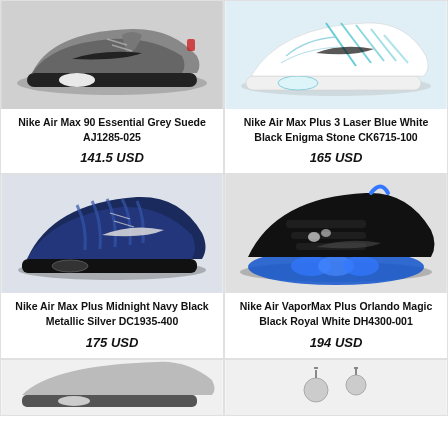[Figure (photo): Nike Air Max 90 Essential Grey Suede sneaker - grey and black colorway]
Nike Air Max 90 Essential Grey Suede AJ1285-025
141.5 USD
[Figure (photo): Nike Air Max Plus 3 Laser Blue White Black Enigma Stone sneaker - white and blue colorway]
Nike Air Max Plus 3 Laser Blue White Black Enigma Stone CK6715-100
165 USD
[Figure (photo): Nike Air Max Plus Midnight Navy Black Metallic Silver sneaker - dark navy blue colorway]
Nike Air Max Plus Midnight Navy Black Metallic Silver DC1935-400
175 USD
[Figure (photo): Nike Air VaporMax Plus Orlando Magic Black Royal White sneaker - black with blue sole]
Nike Air VaporMax Plus Orlando Magic Black Royal White DH4300-001
194 USD
[Figure (photo): Partial view of a sneaker - bottom row left, cut off]
[Figure (photo): Partial view of a sneaker - bottom row right, cut off]